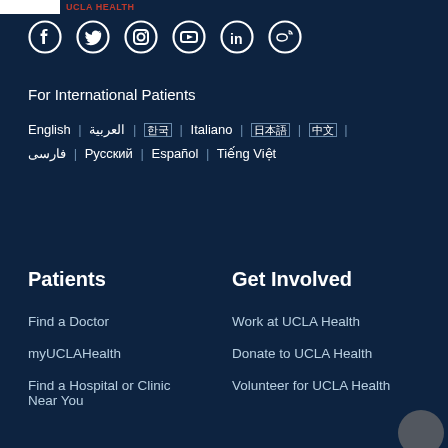[Figure (logo): UCLA Health logo (partially visible, white rectangle) at the top of the page]
[Figure (illustration): Social media icons row: Facebook, Twitter, Instagram, YouTube, LinkedIn, Weibo — white icons on dark navy background]
For International Patients
English | العربية | 한국어 | Italiano | 日本語 | 中文 | فارسى | Русский | Español | Tiếng Việt
Patients
Get Involved
Find a Doctor
myUCLAHealth
Find a Hospital or Clinic Near You
Work at UCLA Health
Donate to UCLA Health
Volunteer for UCLA Health